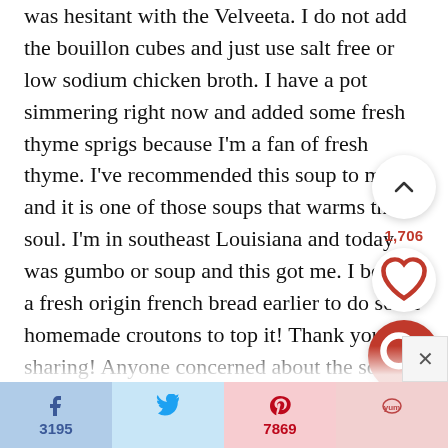was hesitant with the Velveeta. I do not add the bouillon cubes and just use salt free or low sodium chicken broth. I have a pot simmering right now and added some fresh thyme sprigs because I'm a fan of fresh thyme. I've recommended this soup to many and it is one of those soups that warms the soul. I'm in southeast Louisiana and today was gumbo or soup and this got me. I bought a fresh origin french bread earlier to do some homemade croutons to top it! Thank you for sharing! Anyone concerned about the sodium use salt free (or low sodium) stock and omit any added salt and the bouillon cubes and add fresh herbs and boil them...
[Figure (infographic): Floating UI overlay with upward chevron arrow button (white circle), count label 1,706 in red, heart/like button (white circle with red heart icon), and red circle search magnifying glass button]
[Figure (infographic): Social share bar at bottom: Facebook share (3195, light blue), Twitter share (light blue), Pinterest (7869, light pink), Yummly (light pink/red). Close X button above bar on right.]